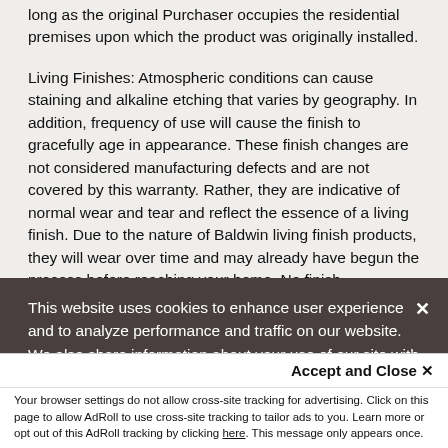a) one (1) year from the date of purchase for interior use, as long as the original Purchaser occupies the residential premises upon which the product was originally installed.
Living Finishes: Atmospheric conditions can cause staining and alkaline etching that varies by geography. In addition, frequency of use will cause the finish to gracefully age in appearance. These finish changes are not considered manufacturing defects and are not covered by this warranty. Rather, they are indicative of normal wear and tear and reflect the essence of a living finish. Due to the nature of Baldwin living finish products, they will wear over time and may already have begun the process before reaching your home. No finish
This website uses cookies to enhance user experience and to analyze performance and traffic on our website. We also share information about your use of our site with our social media, advertising and analytics partners. Cookie Policy
Accept and Close ✕
Your browser settings do not allow cross-site tracking for advertising. Click on this page to allow AdRoll to use cross-site tracking to tailor ads to you. Learn more or opt out of this AdRoll tracking by clicking here. This message only appears once.